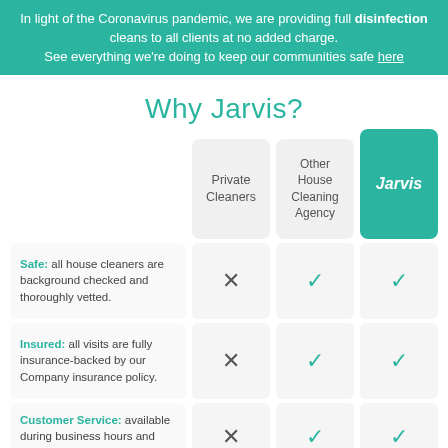In light of the Coronavirus pandemic, we are providing full disinfection cleans to all clients at no added charge. See everything we're doing to keep our communities safe here
Why Jarvis?
[Figure (infographic): Comparison table with three columns: Private Cleaners, Other House Cleaning Agency, Jarvis. Rows: Safe (background checked/vetted): ✗, ✓, ✓; Insured (insurance-backed): ✗, ✓, ✓; Customer Service (available during business hours and weekends): ✗, ✓, ✓]